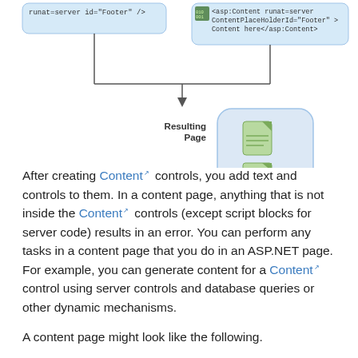[Figure (flowchart): Diagram showing two code boxes at top (one with 'runat=server id="Footer" />' and one with asp:Content runat=server ContentPlaceHolderId="Footer" > Content here</asp:Content>), connected by lines to a 'Resulting Page' label and a rounded rectangle containing two stacked document icons (one plain, one with code markings).]
After creating Content controls, you add text and controls to them. In a content page, anything that is not inside the Content controls (except script blocks for server code) results in an error. You can perform any tasks in a content page that you do in an ASP.NET page. For example, you can generate content for a Content control using server controls and database queries or other dynamic mechanisms.
A content page might look like the following.